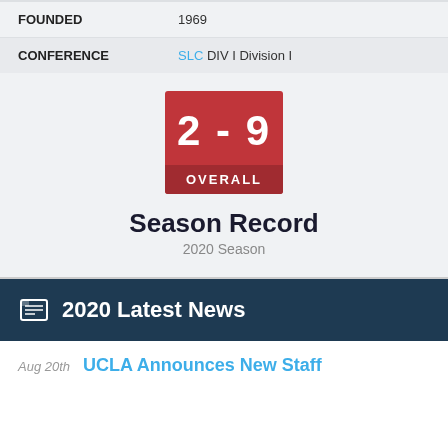| Field | Value |
| --- | --- |
| FOUNDED | 1969 |
| CONFERENCE | SLC DIV I Division I |
[Figure (infographic): Red box showing season record 2 - 9 OVERALL]
Season Record
2020 Season
2020 Latest News
Aug 20th  UCLA Announces New Staff